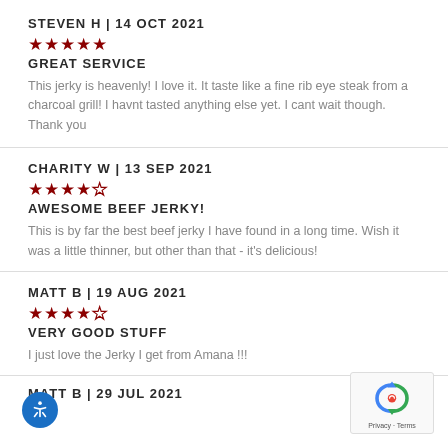STEVEN H | 14 OCT 2021
★★★★★
GREAT SERVICE
This jerky is heavenly! I love it. It taste like a fine rib eye steak from a charcoal grill! I havnt tasted anything else yet. I cant wait though. Thank you
CHARITY W | 13 SEP 2021
★★★★☆
AWESOME BEEF JERKY!
This is by far the best beef jerky I have found in a long time. Wish it was a little thinner, but other than that - it's delicious!
MATT B | 19 AUG 2021
★★★★☆
VERY GOOD STUFF
I just love the Jerky I get from Amana !!!
MATT B | 29 JUL 2021